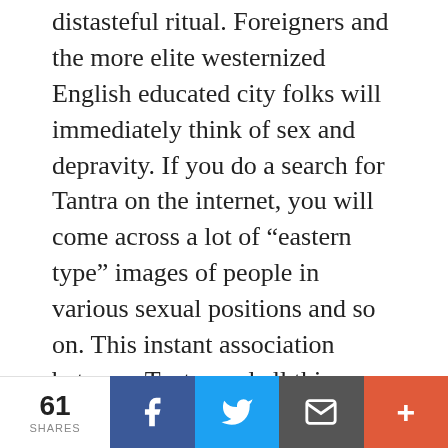distasteful ritual. Foreigners and the more elite westernized English educated city folks will immediately think of sex and depravity. If you do a search for Tantra on the internet, you will come across a lot of “eastern type” images of people in various sexual positions and so on. This instant association between Tantra and all things ‘immoral’, depraved and wicked has become ingrained in the Hindu as well as non-Hindu psyche, and Tantra has come to be associated with black-magic, animal sacrifices, and other objectionable
61 SHARES